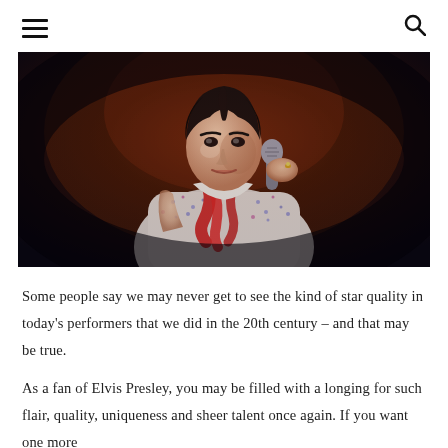≡  🔍
[Figure (photo): An Elvis Presley impersonator performer on stage holding a microphone, wearing a jewel-encrusted white jumpsuit with a red scarf, dark hair styled in Elvis fashion, performing under stage lighting against a dark background.]
Some people say we may never get to see the kind of star quality in today's performers that we did in the 20th century – and that may be true.
As a fan of Elvis Presley, you may be filled with a longing for such flair, quality, uniqueness and sheer talent once again. If you want one more...